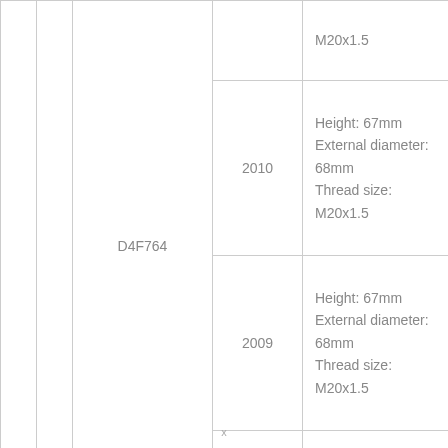|  |  | Part Number | Year | Specifications |
| --- | --- | --- | --- | --- |
|  |  |  |  | M20x1.5 |
|  |  | D4F764 | 2010 | Height: 67mm
External diameter: 68mm
Thread size: M20x1.5 |
|  |  |  | 2009 | Height: 67mm
External diameter: 68mm
Thread size: M20x1.5 |
|  |  |  |  | Height: 67mm |